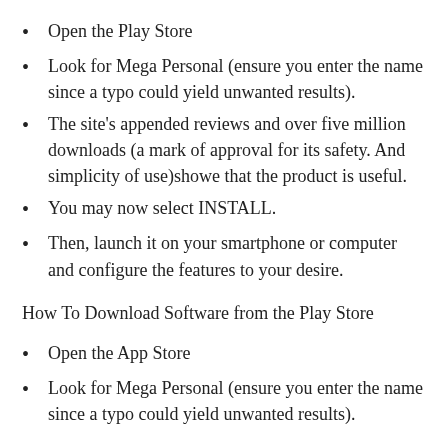Open the Play Store
Look for Mega Personal (ensure you enter the name since a typo could yield unwanted results).
The site’s appended reviews and over five million downloads (a mark of approval for its safety. And simplicity of use)showe that the product is useful.
You may now select INSTALL.
Then, launch it on your smartphone or computer and configure the features to your desire.
How To Download Software from the Play Store
Open the App Store
Look for Mega Personal (ensure you enter the name since a typo could yield unwanted results).